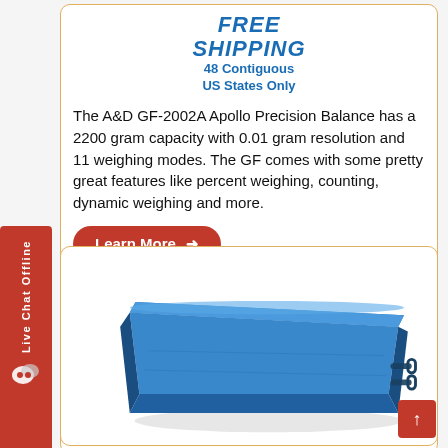[Figure (infographic): FREE SHIPPING 48 Contiguous US States Only badge in blue italic text]
The A&D GF-2002A Apollo Precision Balance has a 2200 gram capacity with 0.01 gram resolution and 11 weighing modes. The GF comes with some pretty great features like percent weighing, counting, dynamic weighing and more.
[Figure (illustration): Red rounded rectangle button labeled 'Learn More' with a right-pointing arrow]
[Figure (photo): A blue rectangular platform floor scale with low-profile ramp design, viewed from a slight angle above. The scale has handles on the right side.]